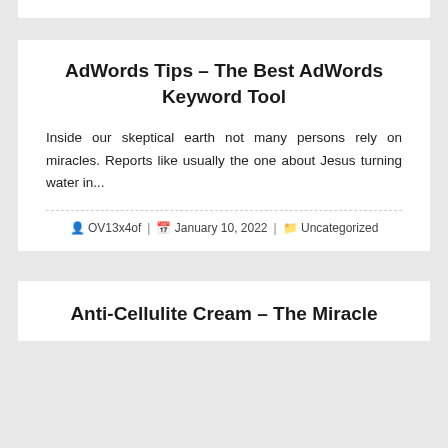AdWords Tips – The Best AdWords Keyword Tool
Inside our skeptical earth not many persons rely on miracles. Reports like usually the one about Jesus turning water in...
OV13x4of | January 10, 2022 | Uncategorized
Anti-Cellulite Cream – The Miracle